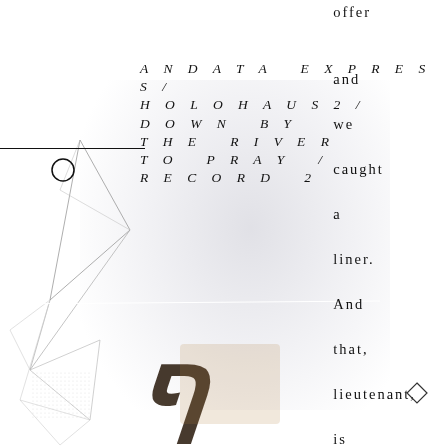ANDATA EXPRESS / HOLOHAUS2 / DOWN BY THE RIVER TO PRAY / RECORD 2
offer and we caught a liner. And that, lieutenant, is the sto..."
[Figure (illustration): Abstract geometric line drawing of triangular/angular shapes on left side; blurred grey cloud-like blob background in center; decorative calligraphic/ornamental letterform overlay at bottom center; small diamond shape at bottom right; horizontal white diagonal line across lower portion]
[Figure (other): Decorative horizontal rule line with circle symbol on left margin]